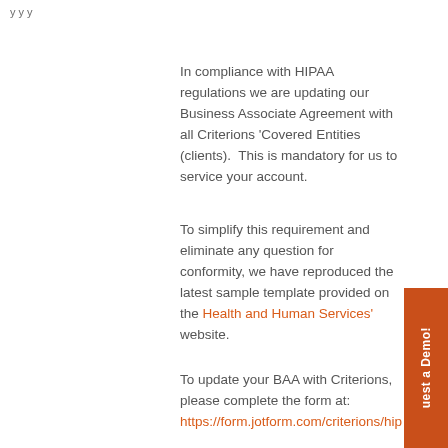y y y
In compliance with HIPAA regulations we are updating our Business Associate Agreement with all Criterions ‘Covered Entities (clients).  This is mandatory for us to service your account.
To simplify this requirement and eliminate any question for conformity, we have reproduced the latest sample template provided on the Health and Human Services’ website.
To update your BAA with Criterions, please complete the form at: https://form.jotform.com/criterions/hip